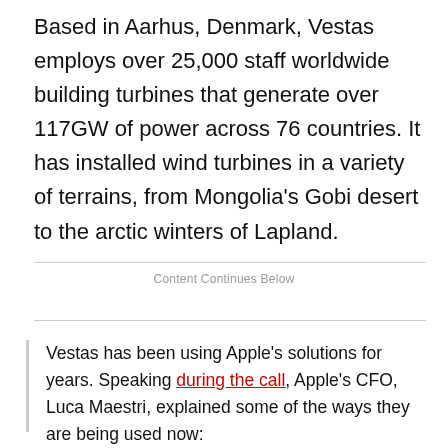Based in Aarhus, Denmark, Vestas employs over 25,000 staff worldwide building turbines that generate over 117GW of power across 76 countries. It has installed wind turbines in a variety of terrains, from Mongolia's Gobi desert to the arctic winters of Lapland.
Content Continues Below
Vestas has been using Apple's solutions for years. Speaking during the call, Apple's CFO, Luca Maestri, explained some of the ways they are being used now: